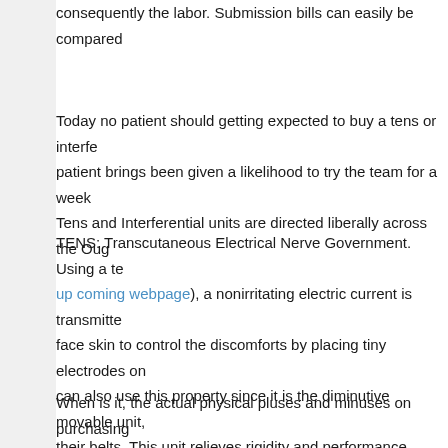consequently the labor. Submission bills can easily be compared
Today no patient should getting expected to buy a tens or interfe patient brings been given a likelihood to try the team for a week Tens and Interferential units are directed liberally across the Oug
TENS: Transcutaneous Electrical Nerve Government. Using a te up coming webpage), a nonirritating electric current is transmitte face skin to control the discomforts by placing tiny electrodes on can also use this property since it is the diminutive movable unit, their belts. This unit relieves rigidity and performance tremors. It body create endorphins, the body's non-medical painkiller, thus n
When is it, the actual physical pluses and minuses on purchasing interferential pain machine out of pocket or perhaps having the i for an individual. So it would not be what everyone wants and n